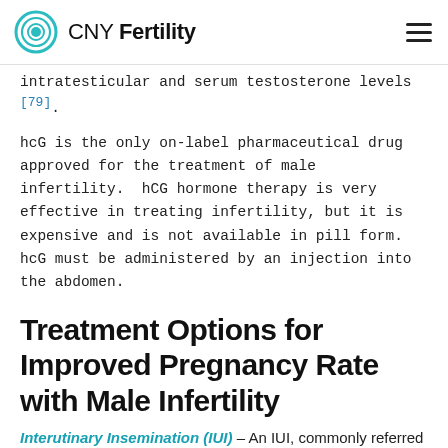CNY Fertility
intratesticular and serum testosterone levels [79].
hcG is the only on-label pharmaceutical drug approved for the treatment of male infertility. hCG hormone therapy is very effective in treating infertility, but it is expensive and is not available in pill form. hcG must be administered by an injection into the abdomen.
Treatment Options for Improved Pregnancy Rate with Male Infertility
Interutinary Insemination (IUI) – An IUI, commonly referred to as artificial insemination, is a simple